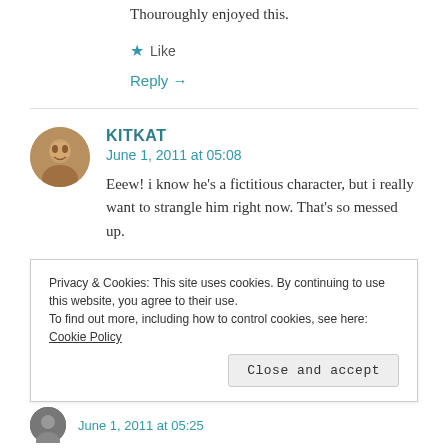Thouroughly enjoyed this.
Like
Reply →
KITKAT
June 1, 2011 at 05:08
Eeew! i know he's a fictitious character, but i really want to strangle him right now. That's so messed up.
Like
Privacy & Cookies: This site uses cookies. By continuing to use this website, you agree to their use. To find out more, including how to control cookies, see here: Cookie Policy
Close and accept
June 1, 2011 at 05:25